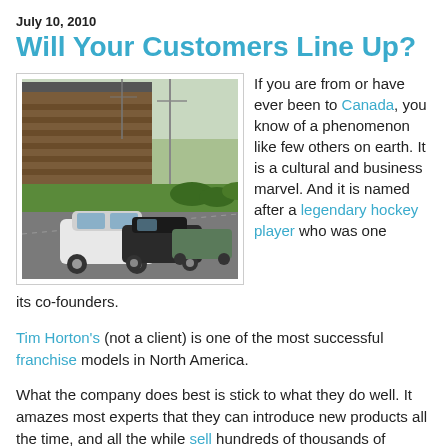July 10, 2010
Will Your Customers Line Up?
[Figure (photo): Photograph of cars lined up in a drive-through at a Tim Horton's restaurant location, showing the building exterior and parking lot with green grass and trees in the background.]
If you are from or have ever been to Canada, you know of a phenomenon like few others on earth. It is a cultural and business marvel. And it is named after a legendary hockey player who was one its co-founders.
Tim Horton's (not a client) is one of the most successful franchise models in North America.
What the company does best is stick to what they do well. It amazes most experts that they can introduce new products all the time, and all the while sell hundreds of thousands of